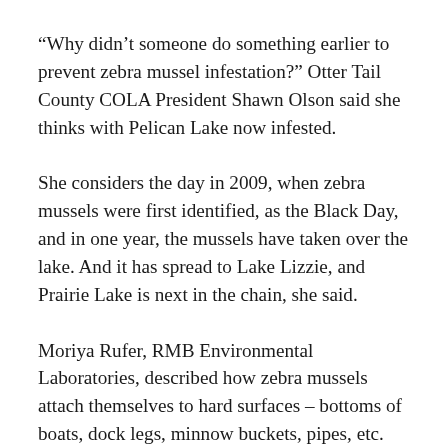“Why didn’t someone do something earlier to prevent zebra mussel infestation?” Otter Tail County COLA President Shawn Olson said she thinks with Pelican Lake now infested.
She considers the day in 2009, when zebra mussels were first identified, as the Black Day, and in one year, the mussels have taken over the lake. And it has spread to Lake Lizzie, and Prairie Lake is next in the chain, she said.
Moriya Rufer, RMB Environmental Laboratories, described how zebra mussels attach themselves to hard surfaces – bottoms of boats, dock legs, minnow buckets, pipes, etc.